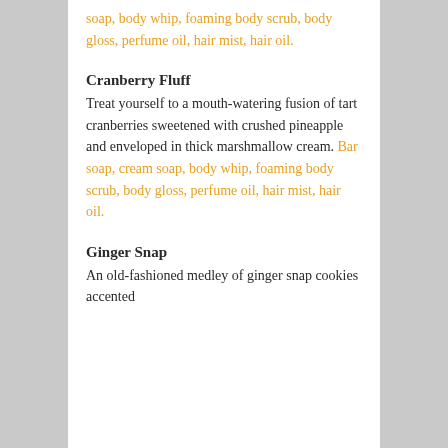soap, body whip, foaming body scrub, body gloss, perfume oil, hair mist, hair oil.
Cranberry Fluff
Treat yourself to a mouth-watering fusion of tart cranberries sweetened with crushed pineapple and enveloped in thick marshmallow cream. Bar soap, cream soap, body whip, foaming body scrub, body gloss, perfume oil, hair mist, hair oil.
Ginger Snap
An old-fashioned medley of ginger snap cookies accented